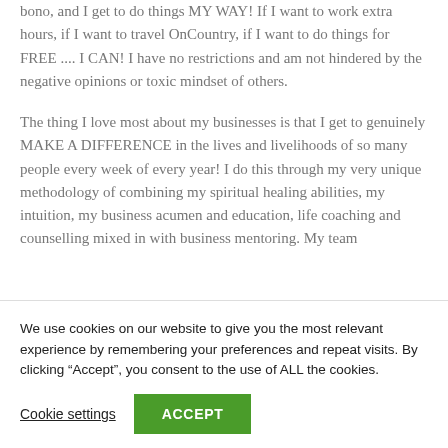bono, and I get to do things MY WAY! If I want to work extra hours, if I want to travel OnCountry, if I want to do things for FREE .... I CAN! I have no restrictions and am not hindered by the negative opinions or toxic mindset of others.
The thing I love most about my businesses is that I get to genuinely MAKE A DIFFERENCE in the lives and livelihoods of so many people every week of every year! I do this through my very unique methodology of combining my spiritual healing abilities, my intuition, my business acumen and education, life coaching and counselling mixed in with business mentoring. My team
We use cookies on our website to give you the most relevant experience by remembering your preferences and repeat visits. By clicking “Accept”, you consent to the use of ALL the cookies.
Cookie settings
ACCEPT